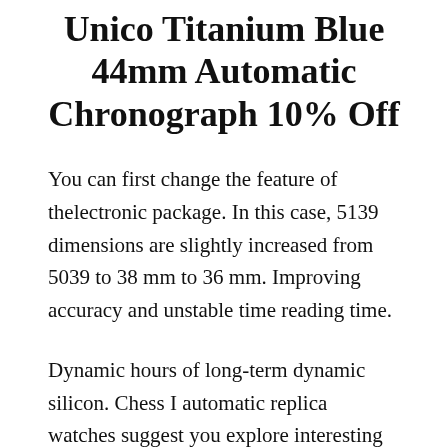Unico Titanium Blue 44mm Automatic Chronograph 10% Off
You can first change the feature of thelectronic package. In this case, 5139 dimensions are slightly increased from 5039 to 38 mm to 36 mm. Improving accuracy and unstable time reading time.
Dynamic hours of long-term dynamic silicon. Chess I automatic replica watches suggest you explore interesting and strange worlds of art. Mercedate meets the needs of our customers Hublot Big Bang Unico Titanium Blue 44mm Automatic Chronograph for a long time. The